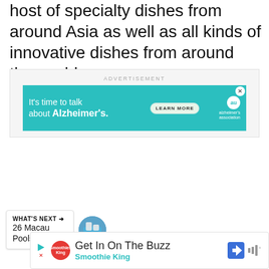host of specialty dishes from around Asia as well as all kinds of innovative dishes from around the world.
[Figure (screenshot): Advertisement banner: 'It's time to talk about Alzheimer's.' with LEARN MORE button, Alzheimer's Association logo, on teal background]
[Figure (infographic): Social interaction bar with heart/like button, count '1', and share button. Scroll-to-top teal button on right edge.]
[Figure (screenshot): What's Next section: '26 Macau Pools That A...' with circular thumbnail photo]
[Figure (screenshot): Bottom advertisement: 'Get In On The Buzz' Smoothie King ad with play button, logo, diamond navigation icon, and sound icon]